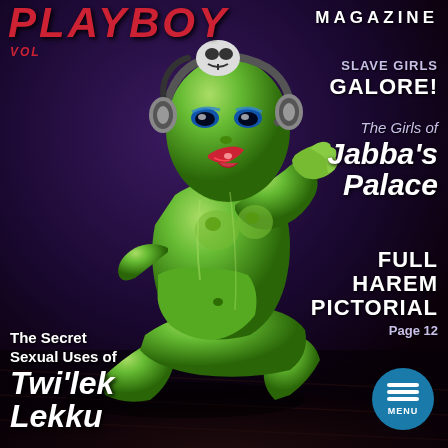MAGAZINE
VOL
[Figure (illustration): Green-skinned alien female figure in kneeling pose wearing a skull headband/headpiece, illustrated in comic/cartoon style against a dark purple-black background]
SLAVE GIRLS
GALORE!
The Girls of
Jabba's
Palace
FULL
HAREM
PICTORIAL
Page 12
The Secret
Sexual Uses of
Twi'lek
Lekku